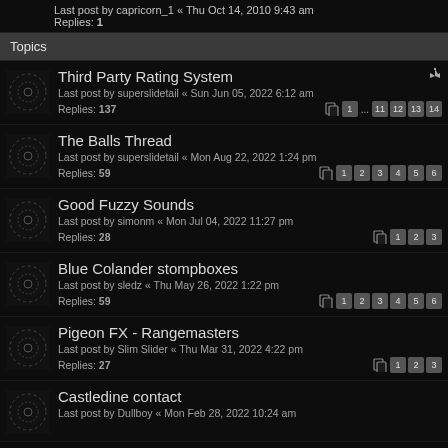Last post by capricorn_1 « Thu Oct 14, 2010 9:43 am
Replies: 1
Topics
Third Party Rating System
Last post by superslidetail « Sun Jun 05, 2022 6:12 am
Replies: 137 | Pages: 1 ... 11 12 13 14
The Balls Thread
Last post by superslidetail « Mon Aug 22, 2022 1:24 pm
Replies: 59 | Pages: 1 2 3 4 5 6
Good Fuzzy Sounds
Last post by simonm « Mon Jul 04, 2022 11:27 pm
Replies: 28 | Pages: 1 2 3
Blue Colander stompboxes
Last post by sledz « Thu May 26, 2022 1:22 pm
Replies: 59 | Pages: 1 2 3 4 5 6
Pigeon FX - Rangemasters
Last post by Slim Slider « Thu Mar 31, 2022 4:22 pm
Replies: 27 | Pages: 1 2 3
Castledine contact
Last post by Dullboy « Mon Feb 28, 2022 10:24 am